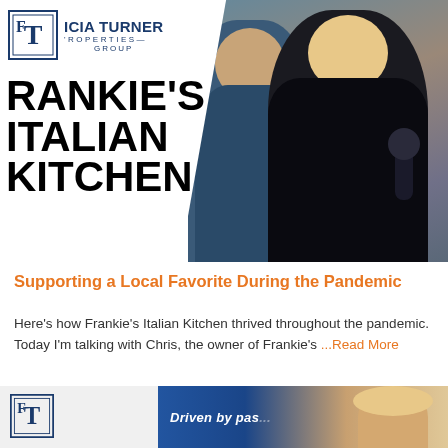[Figure (photo): Top banner image showing Icia Turner Properties Group logo on the left with 'RANKIE'S ITALIAN KITCHEN' text, and a photo on the right of a man in a blue shirt and a blonde woman holding a microphone, in a restaurant setting. A diagonal white line separates the logo/text area from the photo.]
Supporting a Local Favorite During the Pandemic
Here's how Frankie's Italian Kitchen thrived throughout the pandemic. Today I'm talking with Chris, the owner of Frankie's ...Read More
[Figure (photo): Partial bottom banner showing Icia Turner Properties Group logo icon on the left, and a photo on the right with text 'Driven by pas...' partially visible, along with a blonde woman.]